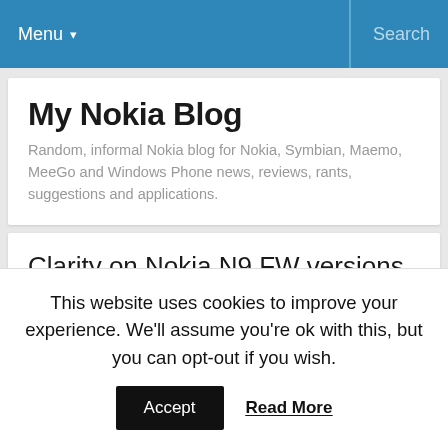Menu ▾   Search
My Nokia Blog
Random, informal Nokia blog for Nokia, Symbian, Maemo, MeeGo and Windows Phone news, reviews, rants, suggestions and applications.
Clarity on Nokia N9 FW versions
Posted by Michael Faro-Tusino
Advertisements
SOFTWARE VERSION:
This website uses cookies to improve your experience. We'll assume you're ok with this, but you can opt-out if you wish.
Accept   Read More